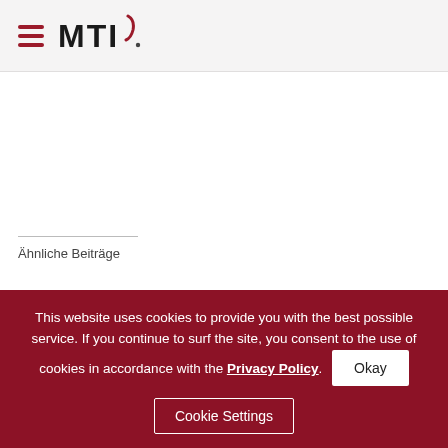MTI
Ähnliche Beiträge
Latest MTI Newsletter – Summer 2016
[vc_row][vc_column
This website uses cookies to provide you with the best possible service. If you continue to surf the site, you consent to the use of cookies in accordance with the Privacy Policy. Okay Cookie Settings